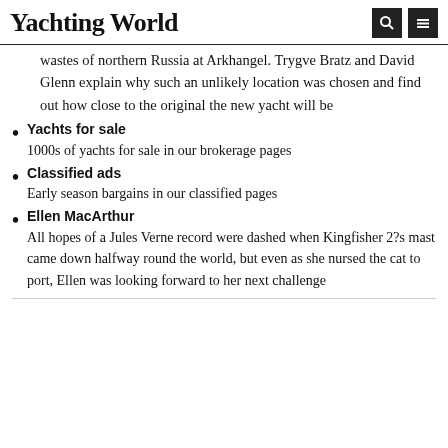Yachting World
wastes of northern Russia at Arkhangel. Trygve Bratz and David Glenn explain why such an unlikely location was chosen and find out how close to the original the new yacht will be
Yachts for sale
1000s of yachts for sale in our brokerage pages
Classified ads
Early season bargains in our classified pages
Ellen MacArthur
All hopes of a Jules Verne record were dashed when Kingfisher 2?s mast came down halfway round the world, but even as she nursed the cat to port, Ellen was looking forward to her next challenge